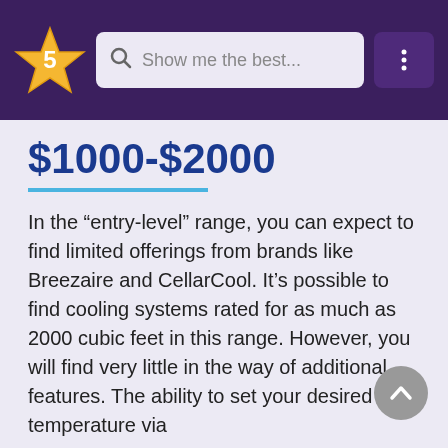[Figure (screenshot): Top navigation bar of a website with a gold star '5' logo on the left, a search box with placeholder 'Show me the best...' in the center, and a vertical three-dot menu icon on the right, all on a dark purple background.]
$1000-$2000
In the “entry-level” range, you can expect to find limited offerings from brands like Breezaire and CellarCool. It’s possible to find cooling systems rated for as much as 2000 cubic feet in this range. However, you will find very little in the way of additional features. The ability to set your desired temperature via